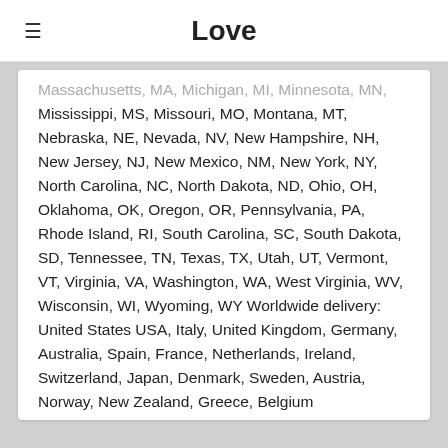Love
Massachusetts, MA, Michigan, MI, Minnesota, MN, Mississippi, MS, Missouri, MO, Montana, MT, Nebraska, NE, Nevada, NV, New Hampshire, NH, New Jersey, NJ, New Mexico, NM, New York, NY, North Carolina, NC, North Dakota, ND, Ohio, OH, Oklahoma, OK, Oregon, OR, Pennsylvania, PA, Rhode Island, RI, South Carolina, SC, South Dakota, SD, Tennessee, TN, Texas, TX, Utah, UT, Vermont, VT, Virginia, VA, Washington, WA, West Virginia, WV, Wisconsin, WI, Wyoming, WY Worldwide delivery: United States USA, Italy, United Kingdom, Germany, Australia, Spain, France, Netherlands, Ireland, Switzerland, Japan, Denmark, Sweden, Austria, Norway, New Zealand, Greece, Belgium